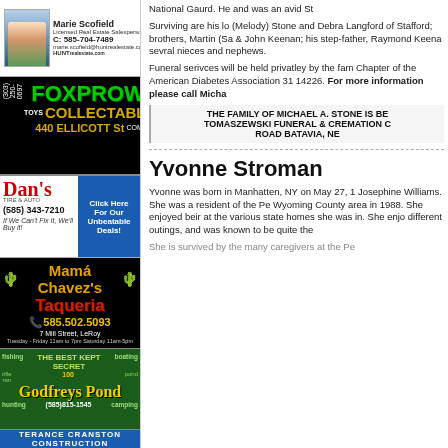[Figure (photo): Marie Scofield real estate ad with photo, Licensed Real Estate Salesperson, C: 585-704-7489, marie.scofield@huntrealestate.com, HUNTrealestate.com]
[Figure (illustration): FoxProwl Collectables ad, green logo text, 440 Ellicott St, Toys & Comics]
[Figure (illustration): Dan's Tire & Auto ad, (585) 343-7210, If We Can't Fix It, We'll Buy it!, Click Here For Our Unbeatable Deals!]
[Figure (illustration): Mamá Chavez's Taqueria ad, 585.502.5093, 7 Mill Street, LeRoy, Tuesday-Friday 11am to 7pm, Saturday 11am-5pm]
[Figure (illustration): Godfreys Pond ad, fishing, boating, rifle range, pond, hunting, (585)815-1545, camping, The Best Kept Secret]
[Figure (illustration): Terance Cranston Construction ad]
National Gaurd. He and was an avid St
Surviving are his lo (Melody) Stone and Debra Langford of Stafford; brothers, Martin (Sa & John Keenan; his step-father, Raymond Keena sevral nieces and nephews.
Funeral serivces will be held privatley by the fam Chapter of the American Diabetes Association 31 14226. For more information please call Micha
THE FAMILY OF MICHAEL A. STONE IS BE TOMASZEWSKI FUNERAL & CREMATION C ROAD BATAVIA, NE
Yvonne Stroman
Yvonne was born in Manhatten, NY on May 27, 1 Josephine Williams. She was a resident of the Pe Wyoming County area in 1988. She enjoyed beir at the various state homes she was in. She enjo different outings, and was known to be quite the
She is survived by the many caregivers at the Pe